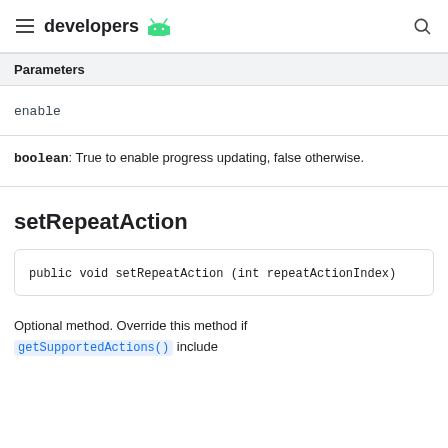developers
| Parameters |
| --- |
| enable |
| boolean: True to enable progress updating, false otherwise. |
setRepeatAction
public void setRepeatAction (int repeatActionIndex)
Optional method. Override this method if getSupportedActions() include